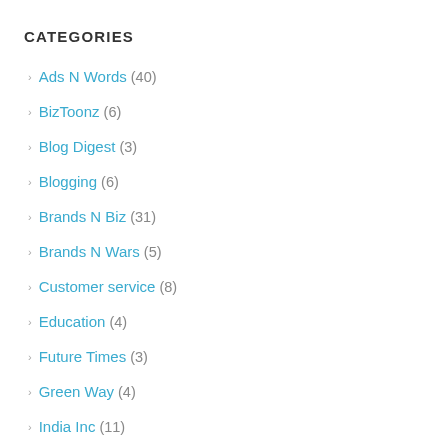CATEGORIES
Ads N Words (40)
BizToonz (6)
Blog Digest (3)
Blogging (6)
Brands N Biz (31)
Brands N Wars (5)
Customer service (8)
Education (4)
Future Times (3)
Green Way (4)
India Inc (11)
Marketing (19)
Media (7)